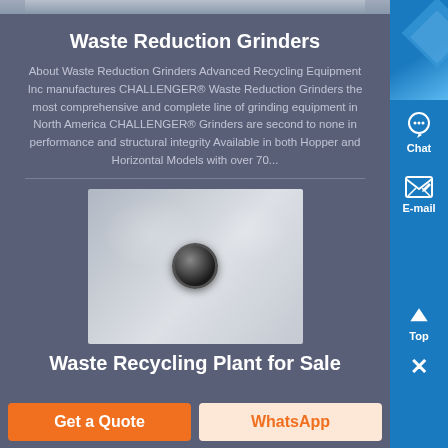[Figure (photo): Top strip of a machinery/grinder product image, partially visible at the top of the page]
Waste Reduction Grinders
About Waste Reduction Grinders Advanced Recycling Equipment Inc manufactures CHALLENGER® Waste Reduction Grinders the most comprehensive and complete line of grinding equipment in North America CHALLENGER® Grinders are second to none in performance and structural integrity Available in both Hopper and Horizontal Models with over 70...
[Figure (photo): Close-up photo of a metal bolt or fastener on a metallic surface, possibly part of industrial grinding equipment]
Waste Recycling Plant for Sale